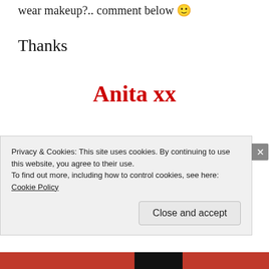wear makeup?.. comment below 🙂
Thanks
Anita xx
Privacy & Cookies: This site uses cookies. By continuing to use this website, you agree to their use.
To find out more, including how to control cookies, see here:
Cookie Policy
Close and accept